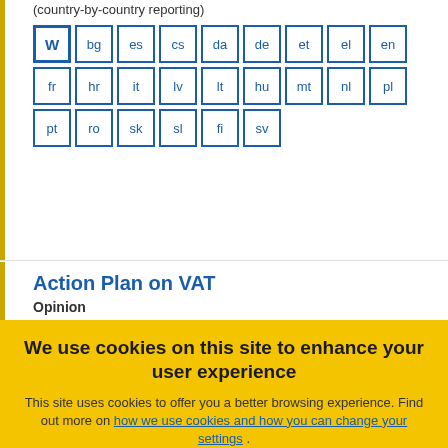(country-by-country reporting)
W bg es cs da de et el en fr hr it lv lt hu mt nl pl pt ro sk sl fi sv
Action Plan on VAT
Opinion
Приети on 13/07/2016
Референтни номер: ECO/406 EESC 2016-02343-00-01 ac
We use cookies on this site to enhance your user experience
This site uses cookies to offer you a better browsing experience. Find out more on how we use cookies and how you can change your settings .